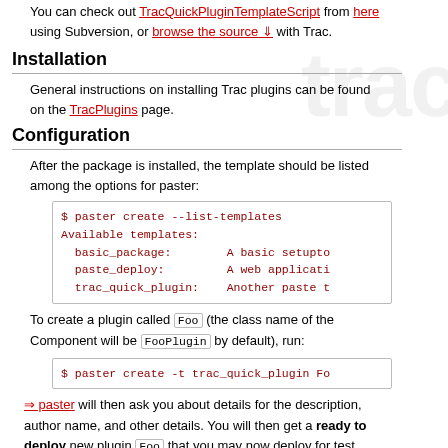You can check out TracQuickPluginTemplateScript from here using Subversion, or browse the source with Trac.
Installation
General instructions on installing Trac plugins can be found on the TracPlugins page.
Configuration
After the package is installed, the template should be listed among the options for paster:
$ paster create --list-templates
Available templates:
  basic_package:        A basic setupto
  paste_deploy:         A web applicati
  trac_quick_plugin:    Another paste t
To create a plugin called Foo (the class name of the Component will be FooPlugin by default), run:
$ paster create -t trac_quick_plugin Fo
paster will then ask you about details for the description, author name, and other details. You will then get a ready to deploy new plugin Foo that you may now deploy for test, edit and implement.